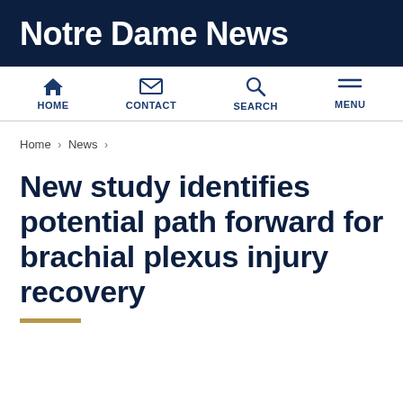Notre Dame News
HOME  CONTACT  SEARCH  MENU
Home › News ›
New study identifies potential path forward for brachial plexus injury recovery